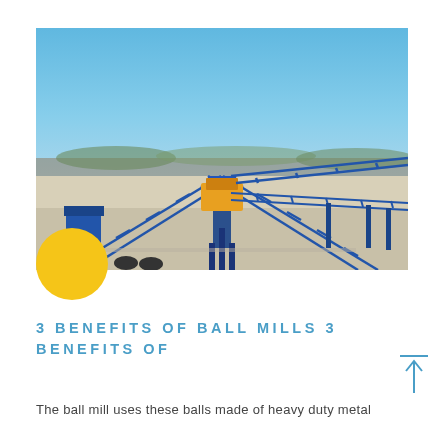[Figure (photo): Aerial/elevated view of an industrial mining conveyor belt facility with blue steel framework structures, conveyor belts forming an X/cross pattern, under a clear blue sky. Yellow/orange equipment visible at center, arid landscape in background.]
3 BENEFITS OF BALL MILLS 3 BENEFITS OF
The ball mill uses these balls made of heavy duty metal